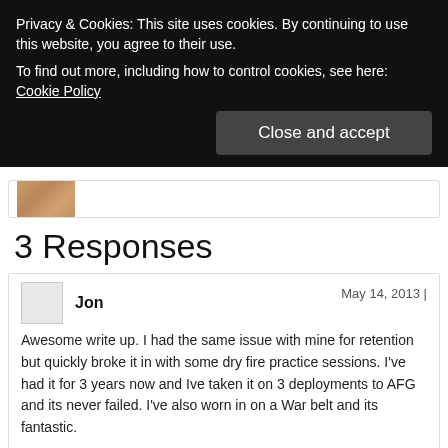Privacy & Cookies: This site uses cookies. By continuing to use this website, you agree to their use.
To find out more, including how to control cookies, see here: Cookie Policy
Close and accept
[Figure (photo): Partial thumbnail image visible below cookie banner]
3 Responses
Jon
May 14, 2013 |
Awesome write up. I had the same issue with mine for retention but quickly broke it in with some dry fire practice sessions. I've had it for 3 years now and Ive taken it on 3 deployments to AFG and its never failed. I've also worn in on a War belt and its fantastic.
Glock 19: The ‘Coupe’ of the Glock 9mm Family
June 29, 2013 |
[…] far as Raven Phantom LC holster, I already have one for my Glock 17 with SureFire X300, so I am already familiar with the quality of RCS